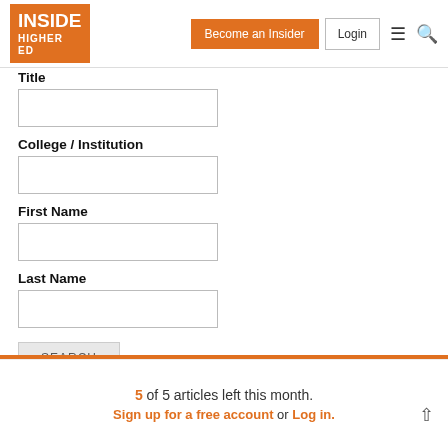INSIDE HIGHER ED | Become an Insider | Login
Title
College / Institution
First Name
Last Name
SEARCH
Claire
5 of 5 articles left this month. Sign up for a free account or Log in.